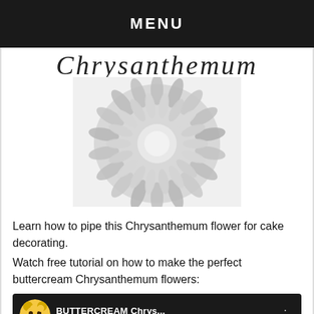MENU
[Figure (illustration): Partial cursive script title (Chrysanthemum) visible at top of content area, black and white]
[Figure (photo): Black and white close-up photograph of a chrysanthemum flower with many layered petals]
Learn how to pipe this Chrysanthemum flower for cake decorating.
Watch free tutorial on how to make the perfect buttercream Chrysanthemum flowers:
[Figure (screenshot): YouTube video thumbnail showing 'BUTTERCREAM Chrys...' title, 'BUTTERCREAM FLOWERS' subtitle, a bear avatar icon, three-dot menu, and cursive 'Chrysanthemum' text with a red circle at bottom]